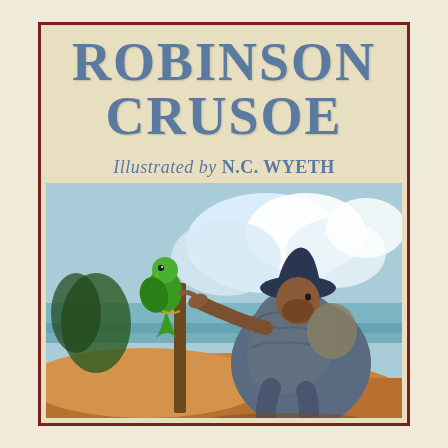ROBINSON CRUSOE
Illustrated by N.C. WYETH
[Figure (illustration): N.C. Wyeth illustration showing Robinson Crusoe, a man in worn ragged clothing and dark hat, leaning forward and pointing his finger at a green parrot perched on a wooden post. The scene is set outdoors with a tropical sky, white clouds, blue ocean in the background, and orange/brown sandy ground.]